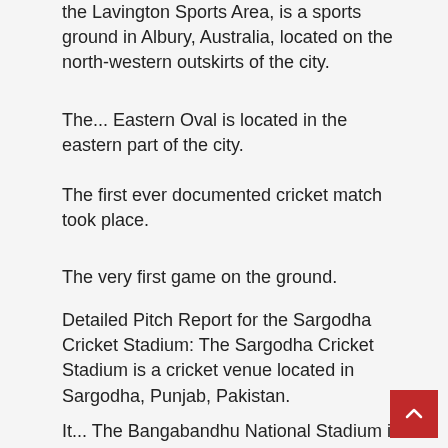the Lavington Sports Area, is a sports ground in Albury, Australia, located on the north-western outskirts of the city.
The... Eastern Oval is located in the eastern part of the city.
The first ever documented cricket match took place.
The very first game on the ground.
Detailed Pitch Report for the Sargodha Cricket Stadium: The Sargodha Cricket Stadium is a cricket venue located in Sargodha, Punjab, Pakistan.
It... The Bangabandhu National Stadium is located in Dhaka, Bangladesh.